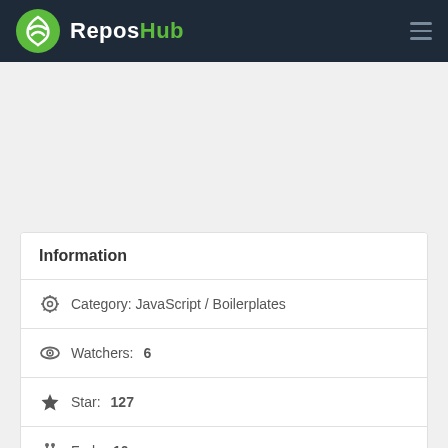ReposHub
Information
Category: JavaScript / Boilerplates
Watchers: 6
Star: 127
Fork: 10
Last update: Aug 26, 2022